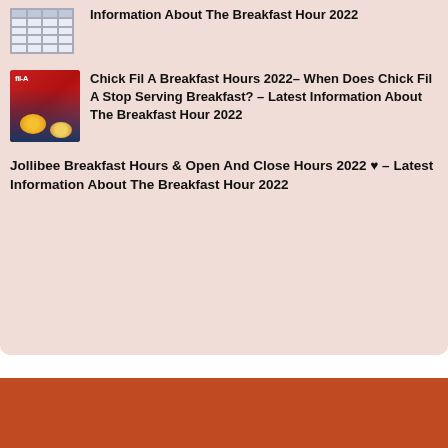[Figure (table-as-image): Small thumbnail showing a table with columns and rows, spreadsheet-style layout]
Information About The Breakfast Hour 2022
[Figure (photo): Thumbnail photo of a person with Chick-fil-A branding and breakfast food items on a red background]
Chick Fil A Breakfast Hours 2022– When Does Chick Fil A Stop Serving Breakfast? – Latest Information About The Breakfast Hour 2022
Jollibee Breakfast Hours & Open And Close Hours 2022 ♥ – Latest Information About The Breakfast Hour 2022